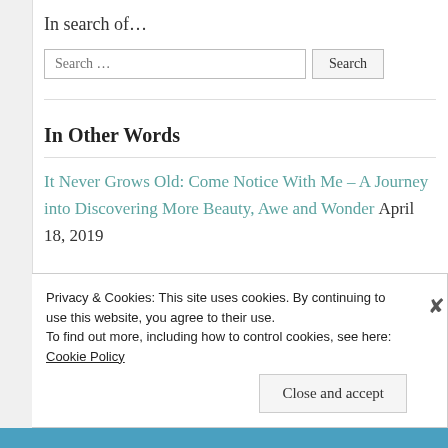In search of…
Search …
In Other Words
It Never Grows Old: Come Notice With Me – A Journey into Discovering More Beauty, Awe and Wonder April 18, 2019
Privacy & Cookies: This site uses cookies. By continuing to use this website, you agree to their use.
To find out more, including how to control cookies, see here: Cookie Policy
Close and accept